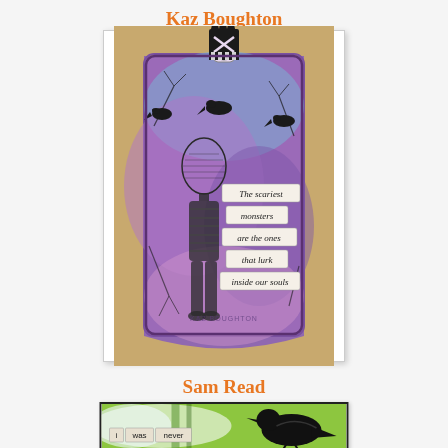Kaz Boughton
[Figure (photo): A decorative luggage tag artwork with purple and blue watercolor background, featuring a dark skeletal/mummy figure, three bird silhouettes at top, branch designs, a crown embellishment at the top, and layered text strips reading 'The scariest monsters are the ones that lurk inside our souls'. Watermark reads KAZ BOUGHTON.]
Sam Read
[Figure (photo): Partial view of an artwork with green and white/pastel background, a large black bird (crow/raven) silhouette on the right, and a strip of text reading 'i was never' in the lower left area.]